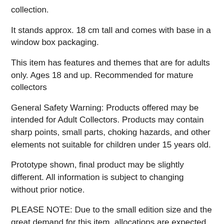collection.
It stands approx. 18 cm tall and comes with base in a window box packaging.
This item has features and themes that are for adults only. Ages 18 and up. Recommended for mature collectors
General Safety Warning: Products offered may be intended for Adult Collectors. Products may contain sharp points, small parts, choking hazards, and other elements not suitable for children under 15 years old.
Prototype shown, final product may be slightly different. All information is subject to changing without prior notice.
PLEASE NOTE: Due to the small edition size and the great demand for this item, allocations are expected to occur.
UPOZORNĚNÍ: TITUL JE VYROBENÝ V OMEZENÉM MNOŽSTVÍ JAKO UMĚLECKÝ PŘEDMĚT. UVEDENÁ